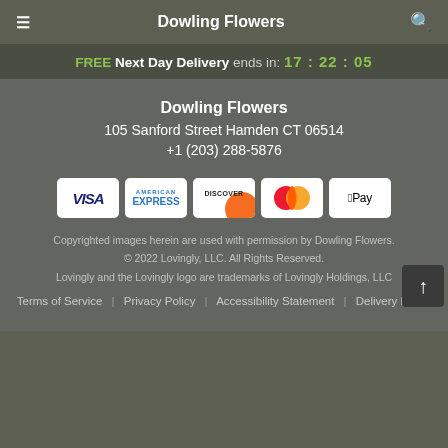Dowling Flowers
FREE Next Day Delivery ends in: 17:22:05
Dowling Flowers
105 Sanford Street Hamden CT 06514
+1 (203) 288-5876
[Figure (infographic): Payment method icons: Visa, American Express, Discover, Mastercard, Apple Pay]
Copyrighted images herein are used with permission by Dowling Flowers.
© 2022 Lovingly, LLC. All Rights Reserved.
Lovingly and the Lovingly logo are trademarks of Lovingly Holdings, LLC
Terms of Service | Privacy Policy | Accessibility Statement | Delivery Policy